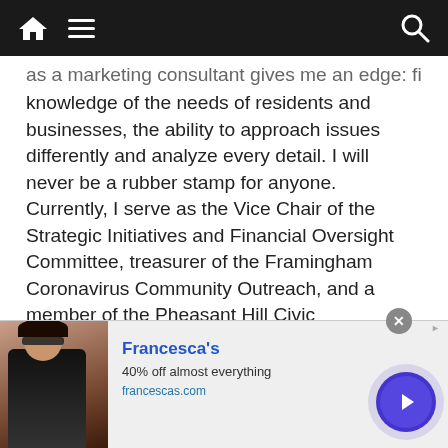[Navigation bar with home icon, menu icon, and search icon]
as a marketing consultant gives me an edge: first-hand knowledge of the needs of residents and businesses, the ability to approach issues differently and analyze every detail. I will never be a rubber stamp for anyone. Currently, I serve as the Vice Chair of the Strategic Initiatives and Financial Oversight Committee, treasurer of the Framingham Coronavirus Community Outreach, and a member of the Pheasant Hill Civic Association, Framingham Democratic Committee, Framingham Business Association, Framingham FORCE, Framingham League of Women Voters, Framingham Lodge of Elks #1264, and the Saint Bridget School Advisory Committee.
[Figure (infographic): Advertisement banner for Francesca's: '40% off almost everything', francescas.com, with a photo of a woman and a blue arrow button]